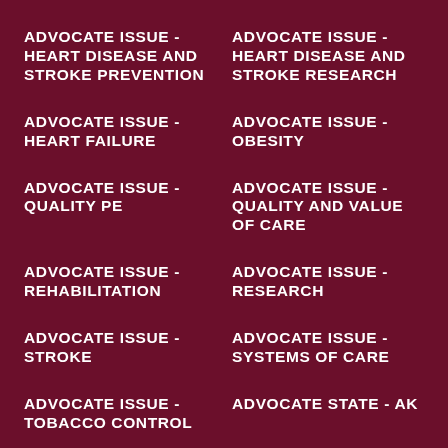ADVOCATE ISSUE - HEART DISEASE AND STROKE PREVENTION
ADVOCATE ISSUE - HEART DISEASE AND STROKE RESEARCH
ADVOCATE ISSUE - HEART FAILURE
ADVOCATE ISSUE - OBESITY
ADVOCATE ISSUE - QUALITY PE
ADVOCATE ISSUE - QUALITY AND VALUE OF CARE
ADVOCATE ISSUE - REHABILITATION
ADVOCATE ISSUE - RESEARCH
ADVOCATE ISSUE - STROKE
ADVOCATE ISSUE - SYSTEMS OF CARE
ADVOCATE ISSUE - TOBACCO CONTROL
ADVOCATE STATE - AK
ADVOCATE STATE - AL
ADVOCATE STATE - AR